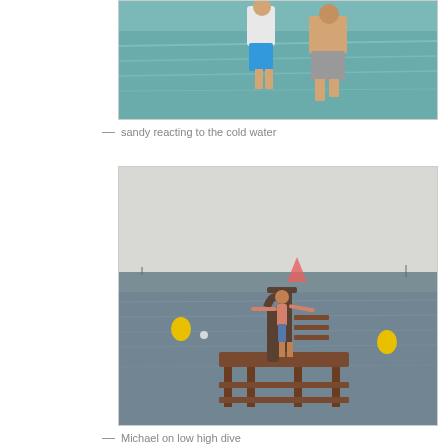[Figure (photo): Two people standing in shallow water at the beach. One person wearing a white t-shirt and blue shorts, the other shirtless in grey shorts.]
— sandy reacting to the cold water
[Figure (photo): A man standing on a low diving platform/structure in the sea, arms outstretched. Yellow buoys visible in the background water.]
— Michael on low high dive